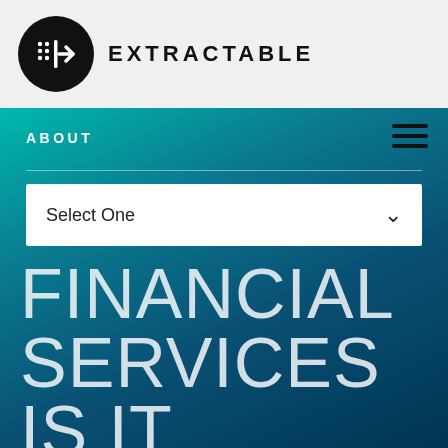[Figure (logo): Extractable company logo: black circle with grid-dot and arrow icon, followed by EXTRACTABLE text in bold uppercase]
EXTRACTABLE
ABOUT
Select One
FINANCIAL SERVICES IS IT
Extractable consults exclusively with financial services clients, helping companies in banking, investment management, and insurance accelerate transformation to provide the best-in-class digital